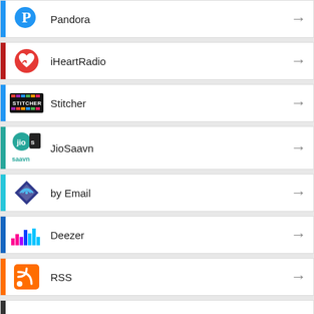Pandora
iHeartRadio
Stitcher
JioSaavn
by Email
Deezer
RSS
More Subscribe Options